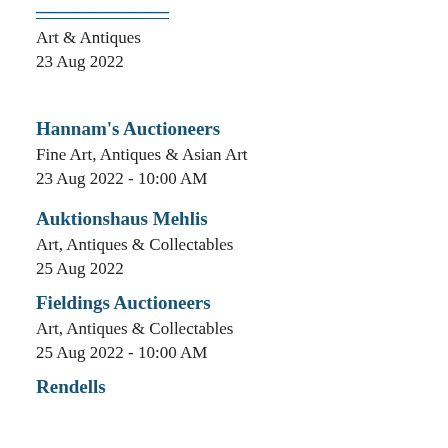[truncated auctioneer name]
Art & Antiques
23 Aug 2022
Hannam's Auctioneers
Fine Art, Antiques & Asian Art
23 Aug 2022 - 10:00 AM
Auktionshaus Mehlis
Art, Antiques & Collectables
25 Aug 2022
Fieldings Auctioneers
Art, Antiques & Collectables
25 Aug 2022 - 10:00 AM
Rendells
Postcards, Stamps & Ephemera
25 Aug 2022 - 10:00 AM
Kessler Auktionen
Militaria
26 Aug 2022